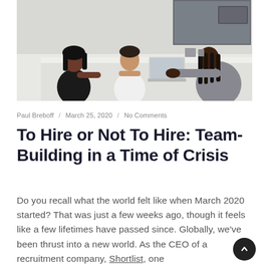[Figure (photo): Three women sitting around a white conference table in an office, one presenting with a laptop to the others, bright modern office setting]
Paul Breboff / March 25, 2020 / No Comments
To Hire or Not To Hire: Team-Building in a Time of Crisis
Do you recall what the world felt like when March 2020 started? That was just a few weeks ago, though it feels like a few lifetimes have passed since. Globally, we've been thrust into a new world. As the CEO of a recruitment company, Shortlist, one